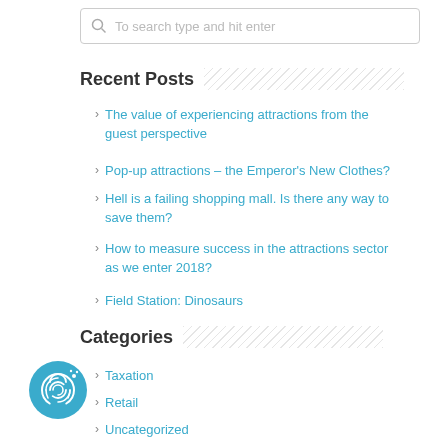To search type and hit enter
Recent Posts
The value of experiencing attractions from the guest perspective
Pop-up attractions – the Emperor's New Clothes?
Hell is a failing shopping mall. Is there any way to save them?
How to measure success in the attractions sector as we enter 2018?
Field Station: Dinosaurs
Categories
Taxation
Retail
Uncategorized
[Figure (logo): Circular fingerprint logo icon in blue]